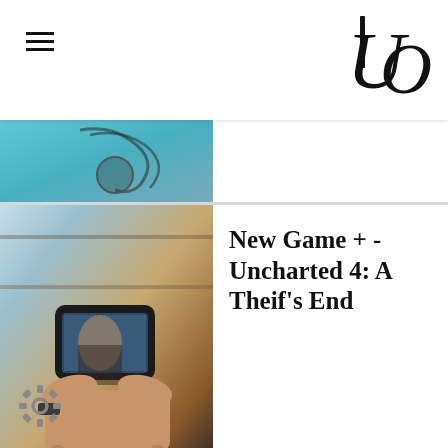UO logo and hamburger menu
[Figure (photo): Partial view of an article thumbnail image showing what appears to be headphones on a teal/blue background]
[Figure (photo): Person holding a smartphone displaying Uncharted 4 game footage, with shelves in the background]
New Game + - Uncharted 4: A Theif's End
[Figure (other): Settings gear icon in grey at bottom left]